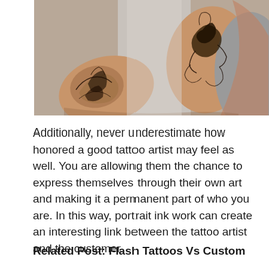[Figure (photo): Close-up photo of a person's tattooed arms showing detailed tattoo artwork including what appears to be a rose/floral design on the forearm and an ornate decorative figure on the upper arm/bicep area. The person is wearing a grey tank top. Background is light grey.]
Additionally, never underestimate how honored a good tattoo artist may feel as well. You are allowing them the chance to express themselves through their own art and making it a permanent part of who you are. In this way, portrait ink work can create an interesting link between the tattoo artist and the customer.
Related Post: Flash Tattoos Vs Custom